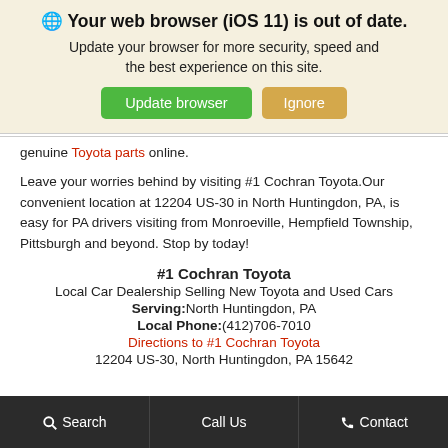🌐 Your web browser (iOS 11) is out of date. Update your browser for more security, speed and the best experience on this site.
Update browser | Ignore
genuine Toyota parts online.
Leave your worries behind by visiting #1 Cochran Toyota.Our convenient location at 12204 US-30 in North Huntingdon, PA, is easy for PA drivers visiting from Monroeville, Hempfield Township, Pittsburgh and beyond. Stop by today!
#1 Cochran Toyota
Local Car Dealership Selling New Toyota and Used Cars
Serving:North Huntingdon, PA
Local Phone:(412)706-7010
Directions to #1 Cochran Toyota
12204 US-30, North Huntingdon, PA 15642
Search   Call Us   Contact